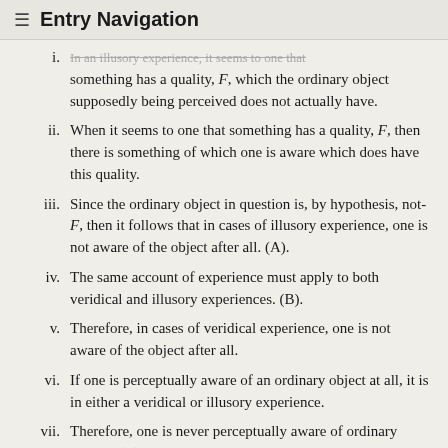≡ Entry Navigation
i. In an illusory experience, it seems to one that something has a quality, F, which the ordinary object supposedly being perceived does not actually have.
ii. When it seems to one that something has a quality, F, then there is something of which one is aware which does have this quality.
iii. Since the ordinary object in question is, by hypothesis, not-F, then it follows that in cases of illusory experience, one is not aware of the object after all. (A).
iv. The same account of experience must apply to both veridical and illusory experiences. (B).
v. Therefore, in cases of veridical experience, one is not aware of the object after all.
vi. If one is perceptually aware of an ordinary object at all, it is in either a veridical or illusory experience.
vii. Therefore, one is never perceptually aware of ordinary objects. (C).